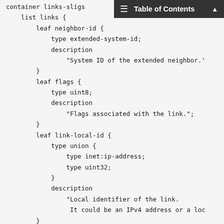Table of Contents
container links-snigs
    list links {
        leaf neighbor-id {
            type extended-system-id;
            description
                "System ID of the extended neighbor.'
        }
        leaf flags {
            type uint8;
            description
                "Flags associated with the link.";
        }
        leaf link-local-id {
            type union {
                type inet:ip-address;
                type uint32;
            }
            description
                "Local identifier of the link.
                 It could be an IPv4 address or a loc
        }
        leaf link-remote-id {
            type union {
                type inet:ip-address;
                type uint32;
            }
            description
                "Remote identifier of the link.
                 It could be an IPv4 address or a rem
                 identifier.";
        }